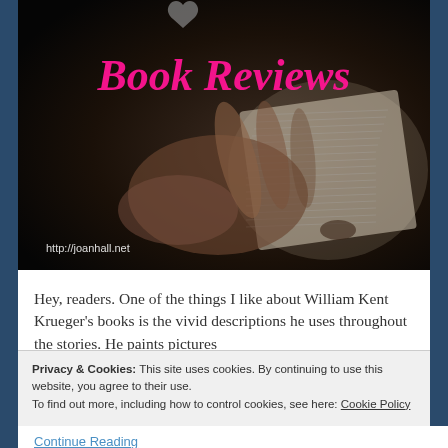[Figure (photo): Book Reviews banner image: dark background photo of hands holding an open book, with 'Book Reviews' in cursive hot pink text, and URL http://joanhall.net in small white text at bottom left]
Hey, readers. One of the things I like about William Kent Krueger's books is the vivid descriptions he uses throughout the stories. He paints pictures
Privacy & Cookies: This site uses cookies. By continuing to use this website, you agree to their use.
To find out more, including how to control cookies, see here: Cookie Policy
Close and accept
Continue Reading